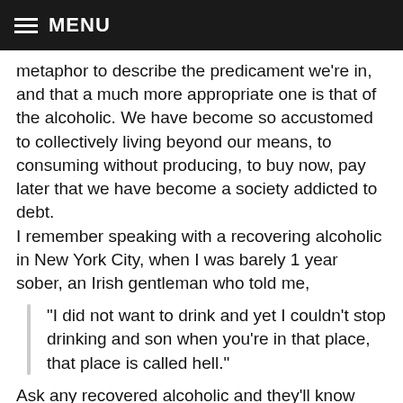MENU
metaphor to describe the predicament we're in, and that a much more appropriate one is that of the alcoholic. We have become so accustomed to collectively living beyond our means, to consuming without producing, to buy now, pay later that we have become a society addicted to debt.
I remember speaking with a recovering alcoholic in New York City, when I was barely 1 year sober, an Irish gentleman who told me,
“I did not want to drink and yet I couldn’t stop drinking and son when you’re in that place, that place is called hell.”
Ask any recovered alcoholic and they’ll know exactly what that guy was talking about. Everything has become one big intractable bloody mess. You can’t do anything without a drink, you would kill to not take a